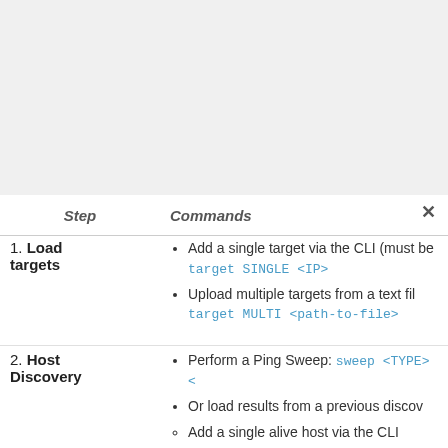| Step | Commands |
| --- | --- |
| 1. Load targets | • Add a single target via the CLI (must be...)
target SINGLE <IP>
• Upload multiple targets from a text file...
target MULTI <path-to-file> |
| 2. Host Discovery | • Perform a Ping Sweep: sweep <TYPE> ...
• Or load results from a previous discov...
  ○ Add a single alive host via the CLI...
    load alive SINGLE <IP>
  ○ Upload multiple alive hosts from... folder: load alive MULTI <path-... |